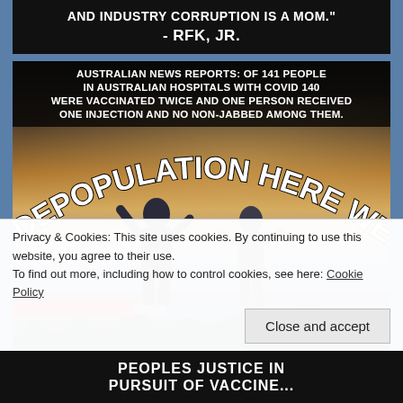[Figure (photo): Top portion of a dark meme image showing white bold text: 'AND INDUSTRY CORRUPTION IS A MOM.' - RFK, JR. (text cut off at top), dark background with a figure in suit]
[Figure (photo): Meme image with dark header text on black background reading 'AUSTRALIAN NEWS REPORTS: OF 141 PEOPLE IN AUSTRALIAN HOSPITALS WITH COVID 140 WERE VACCINATED TWICE AND ONE PERSON RECEIVED ONE INJECTION AND NO NON-JABBED AMONG THEM.' Below that is a manipulated photo with a sunset/cityscape background with two men in suits and large arched text 'DEPOPULATION HERE WE COME' overlaid, with a large red syringe visible at bottom left.]
Privacy & Cookies: This site uses cookies. By continuing to use this website, you agree to their use.
To find out more, including how to control cookies, see here: Cookie Policy
Close and accept
[Figure (photo): Partial bottom banner on black background with white bold uppercase text partially visible: 'PEOPLES JUSTICE IN PURSUIT OF VACCINE...' (cut off)]